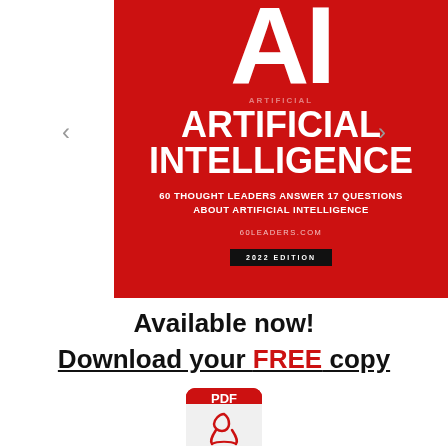[Figure (illustration): Red book cover of 'Artificial Intelligence: 60 Thought Leaders Answer 17 Questions About Artificial Intelligence' - 2022 Edition by 60leaders.com, with large white 'AI' letters at top on red background]
Available now!
Download your FREE copy
[Figure (illustration): PDF file icon with red Adobe Acrobat logo symbol]